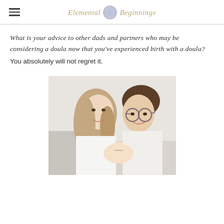Elemental Beginnings
What is your advice to other dads and partners who may be considering a doula now that you've experienced birth with a doula?
You absolutely will not regret it.
[Figure (photo): A smiling couple holding a newborn baby. The woman has long blonde hair and the man has dark hair and glasses wearing a white shirt.]